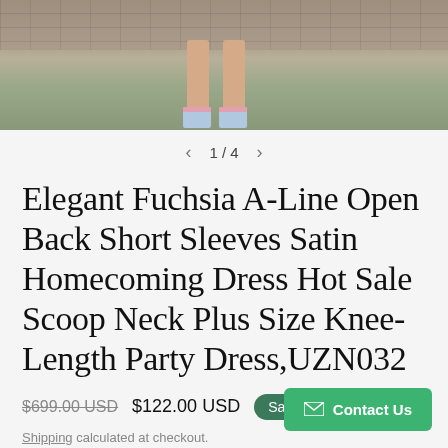[Figure (photo): Photo showing legs of a person wearing a light blue/gray heeled sandals, standing on pavement with a brick wall background. Image is cropped showing only lower legs and feet.]
1 / 4
Elegant Fuchsia A-Line Open Back Short Sleeves Satin Homecoming Dress Hot Sale Scoop Neck Plus Size Knee-Length Party Dress,UZN032
$699.00 USD  $122.00 USD  Sale
Shipping calculated at checkout.